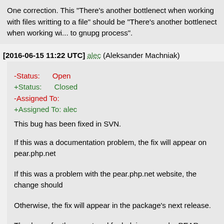One correction. This "There's another bottlenect when working with files writting to a file" should be "There's another bottlenect when working wi... to gnupg process".
[2016-06-15 11:22 UTC] alec (Aleksander Machniak)
-Status:      Open
+Status:      Closed
-Assigned To:
+Assigned To: alec
This bug has been fixed in SVN.

If this was a documentation problem, the fix will appear on pear.php.net

If this was a problem with the pear.php.net website, the change should

Otherwise, the fix will appear in the package's next release.

Thank you for the report and for helping us make PEAR better.
[2016-06-15 14:18 UTC] gauthierm (Michael Gauthier)
This is awesome!